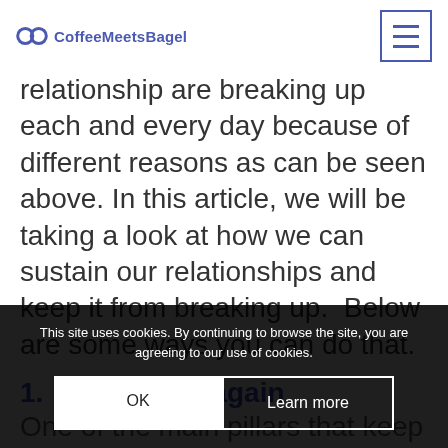CoffeeMeetsBagel
relationship are breaking up each and every day because of different reasons as can be seen above. In this article, we will be taking a look at how we can sustain our relationships and keep it from breaking up.  Below are some ways you can do that.
1.  Fall in love again
One of the main pillars that keep a relationship strong is love. When there is no love between two people in a dating relationship, it is difficult.  The question is, how can you keep the fire of
This site uses cookies. By continuing to browse the site, you are agreeing to our use of cookies.